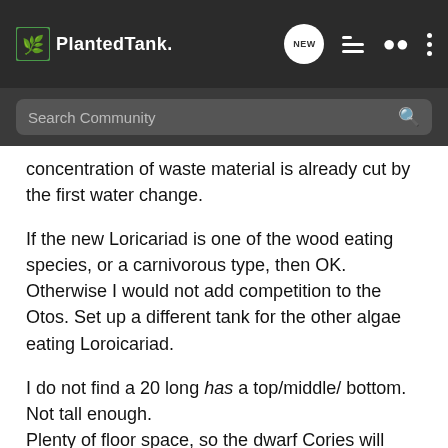PlantedTank
concentration of waste material is already cut by the first water change.
If the new Loricariad is one of the wood eating species, or a carnivorous type, then OK. Otherwise I would not add competition to the Otos. Set up a different tank for the other algae eating Loroicariad.
I do not find a 20 long has a top/middle/ bottom. Not tall enough.
Plenty of floor space, so the dwarf Cories will enjoy it. They are just right for that size tank.
But the mid-level and upper level fish will pretty much be in the same area.